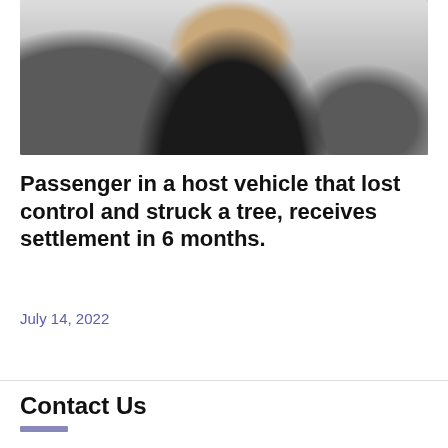[Figure (photo): A person in a black tank top sitting at a desk with grey office chairs in the background, appearing to be in an office or conference room setting.]
Passenger in a host vehicle that lost control and struck a tree, receives settlement in 6 months.
July 14, 2022
Contact Us